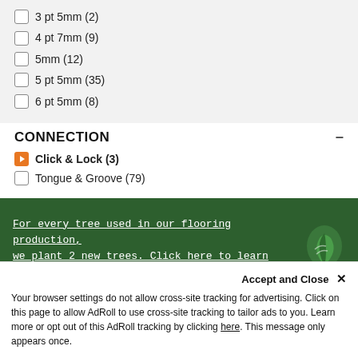3 pt 5mm (2)
4 pt 7mm (9)
5mm (12)
5 pt 5mm (35)
6 pt 5mm (8)
CONNECTION
Click & Lock (3)
Tongue & Groove (79)
For every tree used in our flooring production, we plant 2 new trees. Click here to learn more
[Figure (illustration): White leaf icon on green background]
INSTALL + CARE
Tongue & Groove Installation
Accept and Close ×
Your browser settings do not allow cross-site tracking for advertising. Click on this page to allow AdRoll to use cross-site tracking to tailor ads to you. Learn more or opt out of this AdRoll tracking by clicking here. This message only appears once.